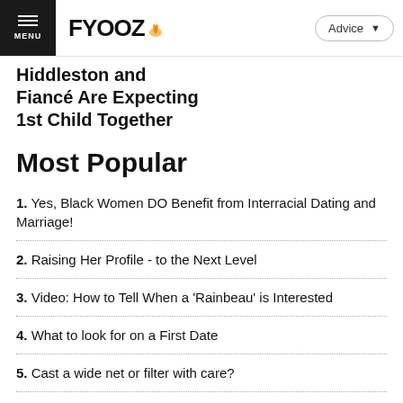FYOOZ — Advice
Hiddleston and Fiancé Are Expecting 1st Child Together
Most Popular
1. Yes, Black Women DO Benefit from Interracial Dating and Marriage!
2. Raising Her Profile - to the Next Level
3. Video: How to Tell When a 'Rainbeau' is Interested
4. What to look for on a First Date
5. Cast a wide net or filter with care?
6. A Graceful Goodbye: End Of Date Etiquette
7. Contest: Valentine's "Extreme Profile Makeover"